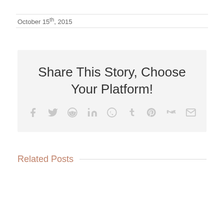October 15th, 2015
[Figure (infographic): Share This Story, Choose Your Platform! social sharing box with icons for Facebook, Twitter, Reddit, LinkedIn, WhatsApp, Tumblr, Pinterest, VK, and Email]
Related Posts